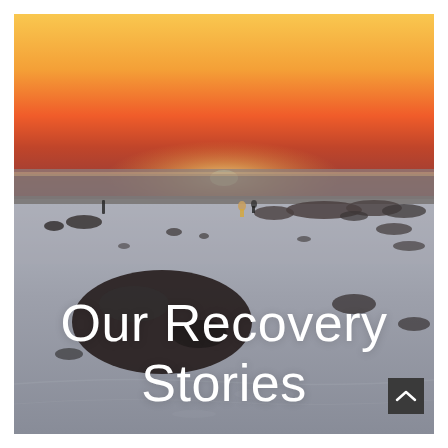[Figure (photo): Beach sunset photo: warm orange and yellow sky near horizon, dark silhouetted rocks scattered on wet sand, two figures visible in middle distance, desaturated blue-grey tones in foreground sand and rocks.]
Our Recovery Stories